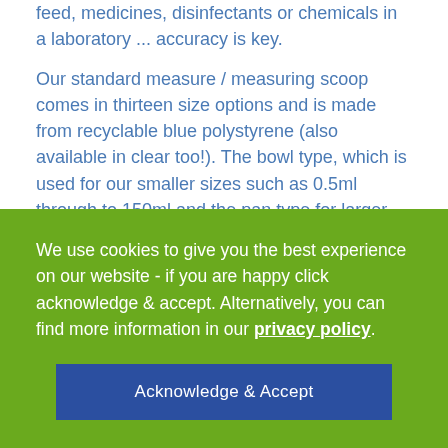feed, medicines, disinfectants or chemicals in a laboratory ... accuracy is key.
Our standard measure / measuring scoop comes in thirteen size options and is made from recyclable blue polystyrene (also available in clear too!). The bowl type, which is used for our smaller sizes such as 0.5ml through to 150ml and the pan type for larger capacities (60ml – 150ml).
We use cookies to give you the best experience on our website - if you are happy click acknowledge & accept. Alternatively, you can find more information in our privacy policy.
Acknowledge & Accept